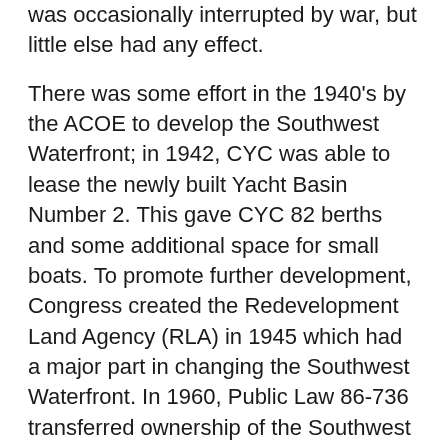was occasionally interrupted by war, but little else had any effect.
There was some effort in the 1940's by the ACOE to develop the Southwest Waterfront; in 1942, CYC was able to lease the newly built Yacht Basin Number 2. This gave CYC 82 berths and some additional space for small boats. To promote further development, Congress created the Redevelopment Land Agency (RLA) in 1945 which had a major part in changing the Southwest Waterfront. In 1960, Public Law 86-736 transferred ownership of the Southwest Waterfront to the RLA. Early development plans put CYC at great risk because they called for the removal of all CYC facilities, creating a continuous seawall and promenade.